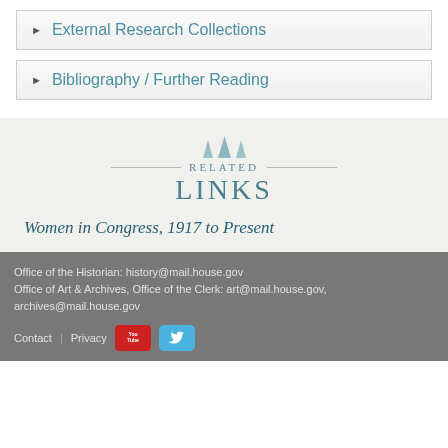► External Research Collections
► Bibliography / Further Reading
RELATED LINKS
Women in Congress, 1917 to Present
Office of the Historian: history@mail.house.gov Office of Art & Archives, Office of the Clerk: art@mail.house.gov, archives@mail.house.gov Contact Privacy